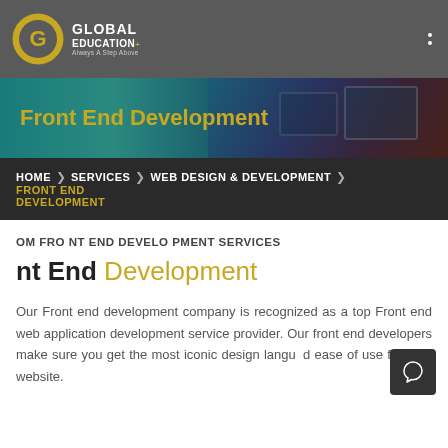GLOBAL EDUCATION - Always A Step Above
[Figure (screenshot): Front End Development banner with teal/dark background and monitor image]
HOME > SERVICES > WEB DESIGN & DEVELOPMENT > FRONT END DEVELOPMENT
OM FRONT END DEVELOPMENT SERVICES
nt End Development
Our Front end development company is recognized as a top Front end web application development service provider. Our front end developers make sure you get the most iconic design language and ease of use for your website.